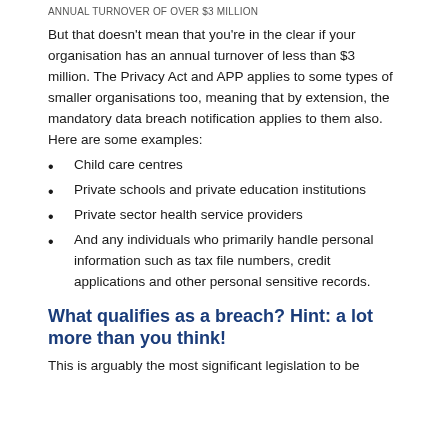annual turnover of over $3 million
But that doesn't mean that you're in the clear if your organisation has an annual turnover of less than $3 million. The Privacy Act and APP applies to some types of smaller organisations too, meaning that by extension, the mandatory data breach notification applies to them also. Here are some examples:
Child care centres
Private schools and private education institutions
Private sector health service providers
And any individuals who primarily handle personal information such as tax file numbers, credit applications and other personal sensitive records.
What qualifies as a breach? Hint: a lot more than you think!
This is arguably the most significant legislation to be